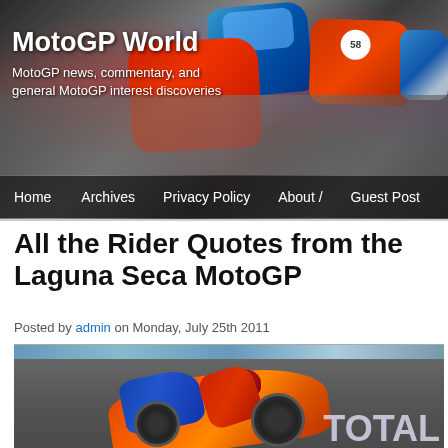[Figure (photo): MotoGP World website header banner showing multiple MotoGP riders and motorcycles racing, including blue, red, and orange bikes. Numbers visible include 58.]
MotoGP World
MotoGP news, commentary, and general MotoGP interest discoveries
Home  Archives  Privacy Policy  About /  Guest Post
All the Rider Quotes from the Laguna Seca MotoGP
Posted by admin on Monday, July 25th 2011
[Figure (photo): MotoGP rider on a Repsol Honda motorcycle (orange and red livery) leaning into a corner at Laguna Seca. The rider wears a Red Bull helmet. Track barriers visible in background with TOTAL branding.]